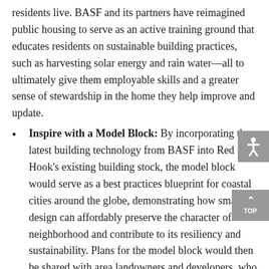residents live. BASF and its partners have reimagined public housing to serve as an active training ground that educates residents on sustainable building practices, such as harvesting solar energy and rain water—all to ultimately give them employable skills and a greater sense of stewardship in the home they help improve and update.
Inspire with a Model Block: By incorporating the latest building technology from BASF into Red Hook's existing building stock, the model block would serve as a best practices blueprint for coastal cities around the globe, demonstrating how smart design can affordably preserve the character of a neighborhood and contribute to its resiliency and sustainability. Plans for the model block would then be shared with area landowners and developers, who could adapt the best practices to meet their own needs. This also presents an ideal opportunity to hire graduates from the green collar job training